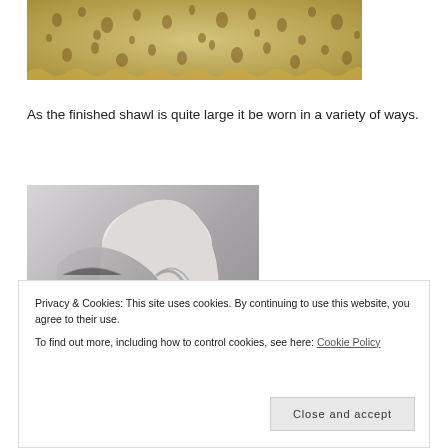[Figure (photo): Close-up photo of a cream/beige lace knitted shawl with decorative open-work pattern]
As the finished shawl is quite large it be worn in a variety of ways.
[Figure (photo): Photo of a grey knitted shawl worn on a mannequin/shoulder, showing texture and drape]
Privacy & Cookies: This site uses cookies. By continuing to use this website, you agree to their use.
To find out more, including how to control cookies, see here: Cookie Policy
Close and accept